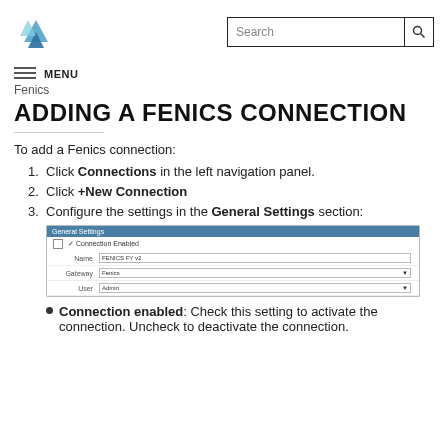Fenics — Search bar
Fenics
ADDING A FENICS CONNECTION
To add a Fenics connection:
1. Click Connections in the left navigation panel.
2. Click +New Connection
3. Configure the settings in the General Settings section:
[Figure (screenshot): General Settings form with Connection enabled checkbox, Name field, Gateway dropdown, and User dropdown]
Connection enabled: Check this setting to activate the connection. Uncheck to deactivate the connection.